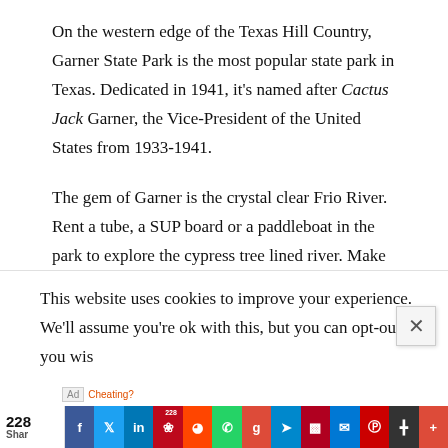On the western edge of the Texas Hill Country, Garner State Park is the most popular state park in Texas. Dedicated in 1941, it's named after Cactus Jack Garner, the Vice-President of the United States from 1933-1941.
The gem of Garner is the crystal clear Frio River. Rent a tube, a SUP board or a paddleboat in the park to explore the cypress tree lined river. Make it a weekend and reserve a cabin or campsite.
Developed by the Civilian Conservation Corps (CCC) during the Depression, the CCC built rock buildings and
This website uses cookies to improve your experience. We'll assume you're ok with this, but you can opt-out if you wis